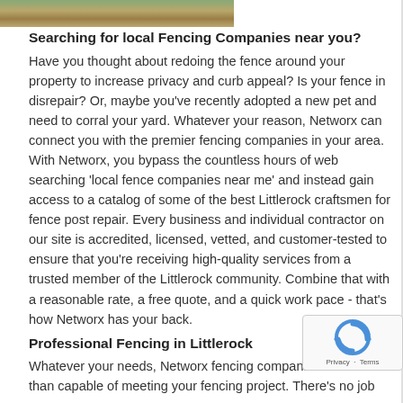[Figure (photo): Partial photo strip showing greenery and a building/fence, cropped at top of page]
Searching for local Fencing Companies near you?
Have you thought about redoing the fence around your property to increase privacy and curb appeal? Is your fence in disrepair? Or, maybe you've recently adopted a new pet and need to corral your yard. Whatever your reason, Networx can connect you with the premier fencing companies in your area. With Networx, you bypass the countless hours of web searching 'local fence companies near me' and instead gain access to a catalog of some of the best Littlerock craftsmen for fence post repair. Every business and individual contractor on our site is accredited, licensed, vetted, and customer-tested to ensure that you're receiving high-quality services from a trusted member of the Littlerock community. Combine that with a reasonable rate, a free quote, and a quick work pace - that's how Networx has your back.
Professional Fencing in Littlerock
Whatever your needs, Networx fencing companies are more than capable of meeting your fencing project. There's no job